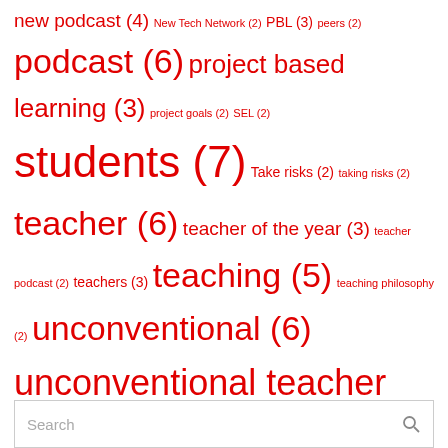new podcast (4) New Tech Network (2) PBL (3) peers (2) podcast (6) project based learning (3) project goals (2) SEL (2) students (7) Take risks (2) taking risks (2) teacher (6) teacher of the year (3) teacher podcast (2) teachers (3) teaching (5) teaching philosophy (2) unconventional (6) unconventional teacher (13) virtual learning (2)